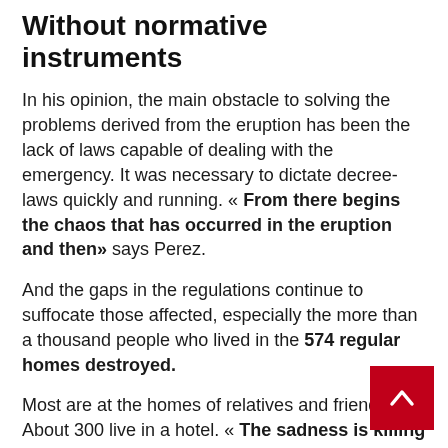Without normative instruments
In his opinion, the main obstacle to solving the problems derived from the eruption has been the lack of laws capable of dealing with the emergency. It was necessary to dictate decree-laws quickly and running. « From there begins the chaos that has occurred in the eruption and then» says Perez.
And the gaps in the regulations continue to suffocate those affected, especially the more than a thousand people who lived in the 574 regular homes destroyed.
Most are at the homes of relatives and friends. About 300 live in a hotel. « The sadness is killing them. They are used to having their house and their land. We are